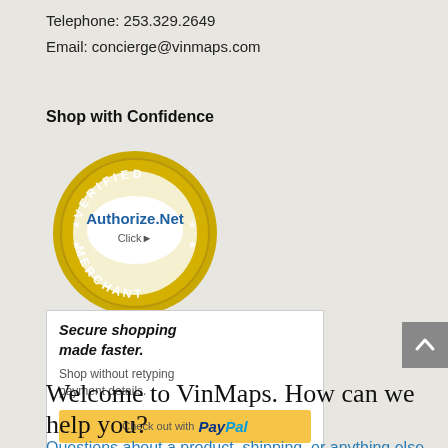Telephone: 253.329.2649
Email: concierge@vinmaps.com
Shop with Confidence
[Figure (logo): Authorize.Net Verified Merchant badge - gold circular seal with 'VERIFIED MERCHANT' text and 'Authorize.Net Click' in the center]
[Figure (infographic): PayPal secure shopping box: 'Secure shopping made faster. Shop without retyping payment details.' with yellow 'Check out with PayPal' button]
Welcome to VinMaps. How can we help you?
Questions about a product, shipping, or anything else you'd like to ask us
Questions about your order
Bulk order purchasing